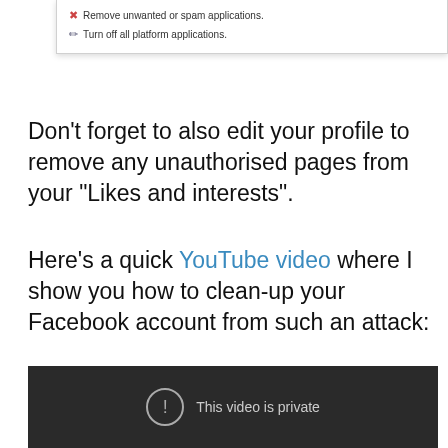[Figure (screenshot): Screenshot of a UI panel showing two list items: 'Remove unwanted or spam applications.' with a red X icon, and 'Turn off all platform applications.' with a pencil/edit icon.]
Don’t forget to also edit your profile to remove any unauthorised pages from your “Likes and interests”.
Here’s a quick YouTube video where I show you how to clean-up your Facebook account from such an attack:
[Figure (screenshot): Embedded YouTube video player showing a dark background with a circle-exclamation icon and the message 'This video is private'.]